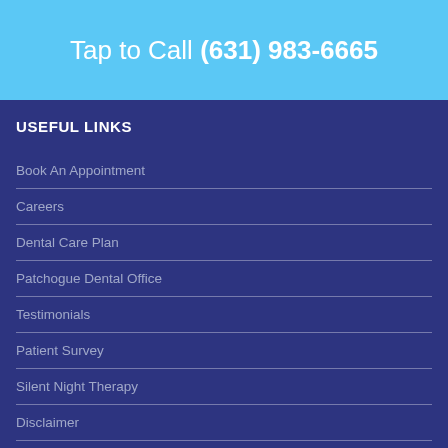Tap to Call (631) 983-6665
USEFUL LINKS
Book An Appointment
Careers
Dental Care Plan
Patchogue Dental Office
Testimonials
Patient Survey
Silent Night Therapy
Disclaimer